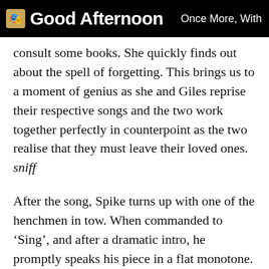Good Afternoon  Once More, With
consult some books. She quickly finds out about the spell of forgetting. This brings us to a moment of genius as she and Giles reprise their respective songs and the two work together perfectly in counterpoint as the two realise that they must leave their loved ones. sniff
After the song, Spike turns up with one of the henchmen in tow. When commanded to ‘Sing’, and after a dramatic intro, he promptly speaks his piece in a flat monotone. Perfect. Giles starts straight away with his new policy, convincing the scoobies to leave Buffy to face things on her own – a prospect she’s none too happy with. Hence, Walk Through the Fire – not the